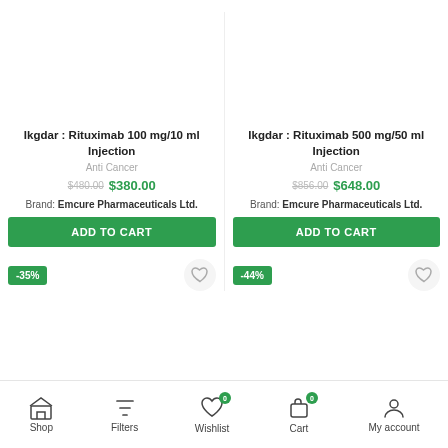Ikgdar : Rituximab 100 mg/10 ml Injection
Anti Cancer
$480.00 $380.00
Brand: Emcure Pharmaceuticals Ltd.
ADD TO CART
-35%
Ikgdar : Rituximab 500 mg/50 ml Injection
Anti Cancer
$856.00 $648.00
Brand: Emcure Pharmaceuticals Ltd.
ADD TO CART
-44%
Shop  Filters  Wishlist 0  Cart 0  My account